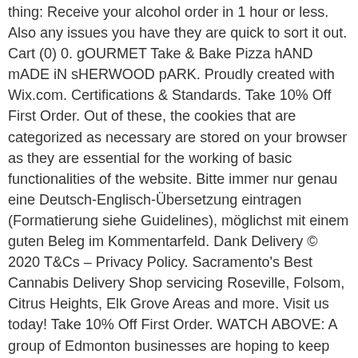thing: Receive your alcohol order in 1 hour or less. Also any issues you have they are quick to sort it out. Cart (0) 0. gOURMET Take & Bake Pizza hAND mADE iN sHERWOOD pARK. Proudly created with Wix.com. Certifications & Standards. Take 10% Off First Order. Out of these, the cookies that are categorized as necessary are stored on your browser as they are essential for the working of basic functionalities of the website. Bitte immer nur genau eine Deutsch-Englisch-Übersetzung eintragen (Formatierung siehe Guidelines), möglichst mit einem guten Beleg im Kommentarfeld. Dank Delivery © 2020 T&Cs – Privacy Policy. Sacramento's Best Cannabis Delivery Shop servicing Roseville, Folsom, Citrus Heights, Elk Grove Areas and more. Visit us today! Take 10% Off First Order. WATCH ABOVE: A group of Edmonton businesses are hoping to keep afloat with the "YEG Survival Kit," which is filled with locally-made products delivered to ... TODAY'S SPECIALS; FLOWER; CONCENTRATES; EDIBLES; VAPE PENS; PREROLLS; GEAR; HOW TO ORDER; MERRY CHRISTMAS OUR PHONE NUMBER @ 586 985 0294 WE WILL BE OPEN MONDAY TO THURSDAY 11 ... We Deliver Beer,